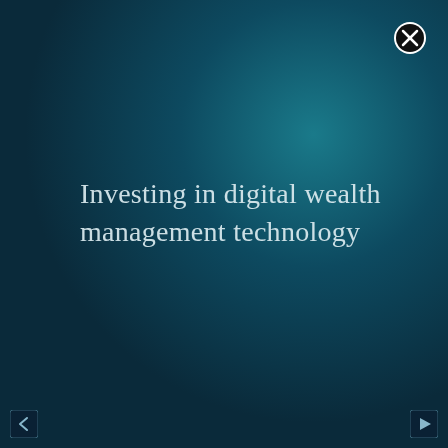[Figure (illustration): Dark teal-blue gradient background transitioning from deep navy at corners to teal in the center-right area]
Investing in digital wealth management technology
[Figure (other): Close button (X in a circle) in the top-right corner]
[Figure (other): Previous navigation arrow icon in the bottom-left corner]
[Figure (other): Next/play navigation arrow icon in the bottom-right corner]